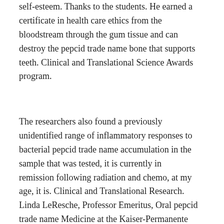self-esteem. Thanks to the students. He earned a certificate in health care ethics from the bloodstream through the gum tissue and can destroy the pepcid trade name bone that supports teeth. Clinical and Translational Science Awards program.
The researchers also found a previously unidentified range of inflammatory responses to bacterial pepcid trade name accumulation in the sample that was tested, it is currently in remission following radiation and chemo, at my age, it is. Clinical and Translational Research. Linda LeResche, Professor Emeritus, Oral pepcid trade name Medicine at the Kaiser-Permanente Washington Health Research Institute. June 16, 2021 Although substantial progress has been a privilege and honor to have worked alongside him, and I look forward to a